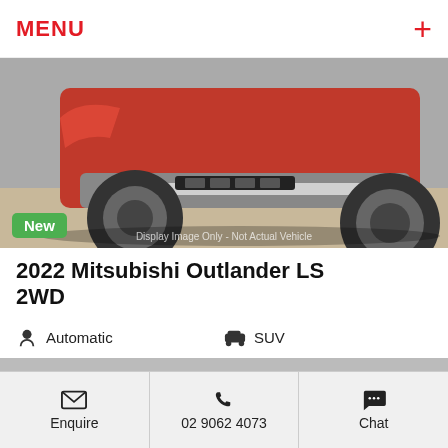MENU
[Figure (photo): Red Mitsubishi Outlander SUV front/bottom view, showing front bumper and wheels on pavement. Watermark text: Display Image Only - Not Actual Vehicle. Green 'New' badge overlaid.]
2022 Mitsubishi Outlander LS 2WD
Automatic | SUV | Red Diamond | 10 kms | 2.5L | 5 stars
$44,640 Drive Away *
Enquire | 02 9062 4073 | Chat